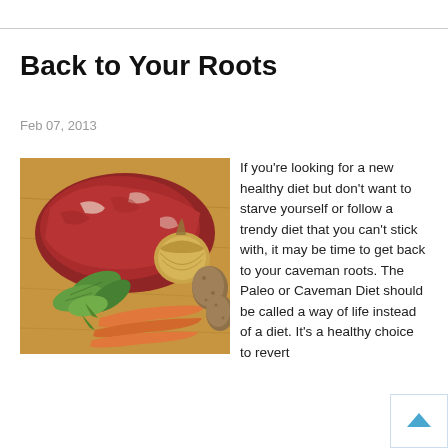Back to Your Roots
Feb 07, 2013
[Figure (photo): Photo of raw meat (beef), carrots, green herbs/leaves, onions, and potatoes on a wooden cutting board]
If you're looking for a new healthy diet but don't want to starve yourself or follow a trendy diet that you can't stick with, it may be time to get back to your caveman roots. The Paleo or Caveman Diet should be called a way of life instead of a diet. It's a healthy choice to revert